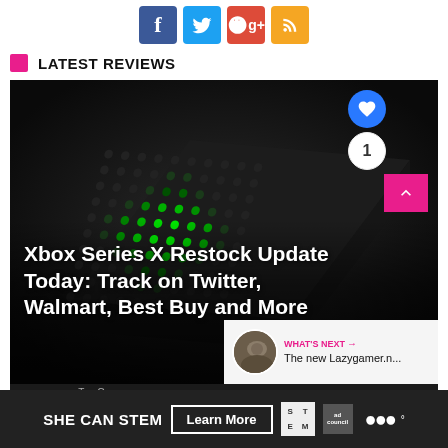[Figure (infographic): Social media sharing buttons: Facebook (blue), Twitter (light blue), Google+ (red), RSS (orange)]
LATEST REVIEWS
[Figure (photo): Xbox Series X console top-down view showing black body with green-lit circular vents in a grid pattern against dark background. Article title overlay reads 'Xbox Series X Restock Update Today: Track on Twitter, Walmart, Best Buy and More'. Includes a blue heart/like button, count bubble showing '1', a pink up-arrow scroll button, and a 'WHAT'S NEXT' panel showing 'The new Lazygamer.n...']
[Figure (infographic): Advertisement bar at bottom: 'SHE CAN STEM' with 'Learn More' button, STEM logo, Ad Council logo, and radio dots logo on dark background]